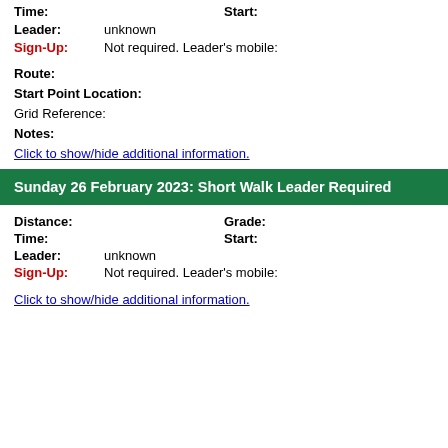Time:    Start:
Leader:  unknown
Sign-Up: Not required. Leader's mobile:
Route:
Start Point Location:
Grid Reference:
Notes:
Click to show/hide additional information.
Sunday 26 February 2023: Short Walk Leader Required
Distance:   Grade:
Time:       Start:
Leader:  unknown
Sign-Up: Not required. Leader's mobile:
Click to show/hide additional information.